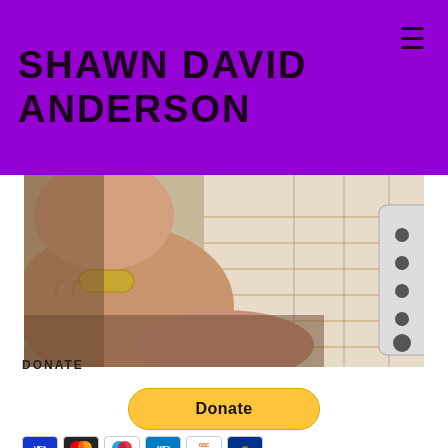SHAWN DAVID ANDERSON
[Figure (photo): Close-up photo of a hand wearing a ring playing a guitar, showing the fretboard and pickup area from an overhead angle.]
DONATE
[Figure (other): PayPal Donate button (yellow rounded rectangle) with credit card icons below (Visa, Mastercard, Maestro, American Express, Discover, and one more card).]